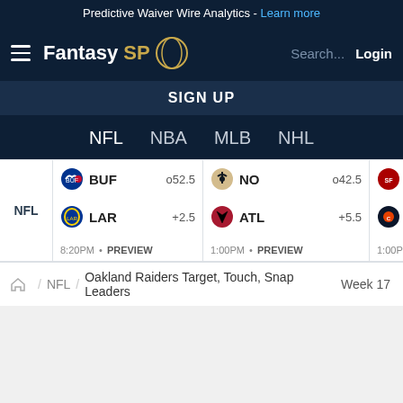Predictive Waiver Wire Analytics - Learn more
[Figure (screenshot): FantasySP navigation bar with hamburger menu, logo, search and login]
SIGN UP
NFL  NBA  MLB  NHL
| League | Team1 | Odds1 | Team2 | Odds2 | Time | Status |
| --- | --- | --- | --- | --- | --- | --- |
| NFL | BUF | o52.5 | NO | o42.5 | SF |  |
|  | LAR | +2.5 | ATL | +5.5 | CHI |  |
|  | 8:20PM • PREVIEW |  | 1:00PM • PREVIEW |  | 1:00PM • PR |  |
NFL  Oakland Raiders Target, Touch, Snap Leaders  Week 17